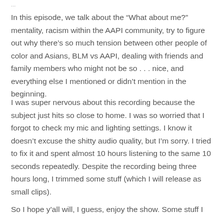...
In this episode, we talk about the “What about me?” mentality, racism within the AAPI community, try to figure out why there’s so much tension between other people of color and Asians, BLM vs AAPI, dealing with friends and family members who might not be so . . . nice, and everything else I mentioned or didn’t mention in the beginning.
I was super nervous about this recording because the subject just hits so close to home. I was so worried that I forgot to check my mic and lighting settings. I know it doesn’t excuse the shitty audio quality, but I’m sorry. I tried to fix it and spent almost 10 hours listening to the same 10 seconds repeatedly. Despite the recording being three hours long, I trimmed some stuff (which I will release as small clips).
So I hope y’all will, I guess, enjoy the show. Some stuff I